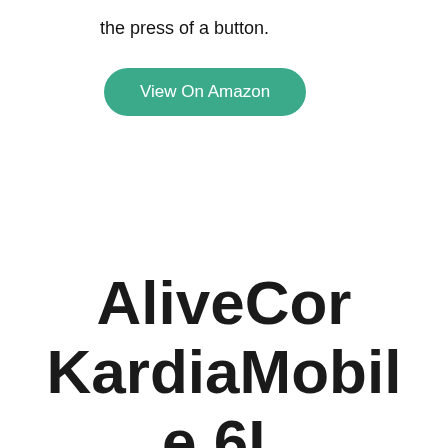the press of a button.
[Figure (other): Green rounded button labeled 'View On Amazon']
AliveCor KardiaMobile 6L